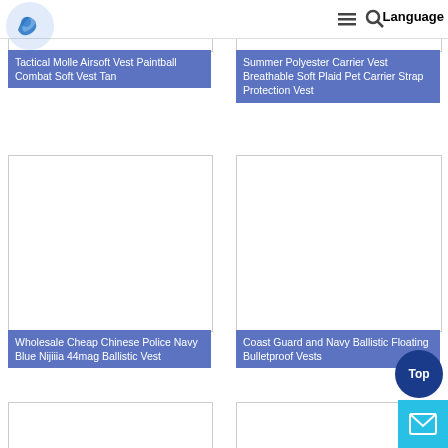[Figure (screenshot): Navigation bar with logo, hamburger menu icon, search icon, and Language label]
Tactical Molle Airsoft Vest Paintball Combat Soft Vest Tan
Summer Polyester Carrier Vest Breathable Soft Plaid Pet Carrier Strap Protection Vest
[Figure (photo): Product image placeholder - white box for Wholesale Cheap Chinese Police Navy Blue Nijiiia 44mag Ballistic Vest]
Wholesale Cheap Chinese Police Navy Blue Nijiiia 44mag Ballistic Vest
[Figure (photo): Product image placeholder - white box for Coast Guard and Navy Ballistic Floating Bulletproof Vests]
Coast Guard and Navy Ballistic Floating Bulletproof Vests
[Figure (photo): Product image placeholder - white box bottom left]
[Figure (photo): Product image placeholder - white box bottom right]